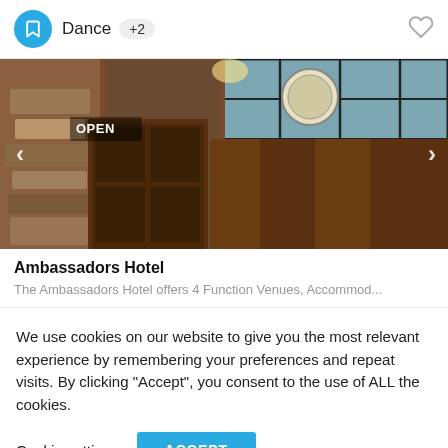Dance  +2
[Figure (photo): Exterior photo of Ambassadors Hotel entrance showing brick wall, wooden doors with large glass windows, and a clock visible above the entrance. Labeled OPEN with navigation arrows.]
Ambassadors Hotel
The Ambassadors Hotel offers 4 Function Venues, Accommod...
We use cookies on our website to give you the most relevant experience by remembering your preferences and repeat visits. By clicking "Accept", you consent to the use of ALL the cookies.
Cookie settings  ACCEPT